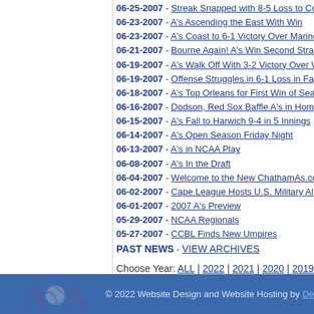06-25-2007 - Streak Snapped with 8-5 Loss to Co...
06-23-2007 - A's Ascending the East With Win
06-23-2007 - A's Coast to 6-1 Victory Over Marine...
06-21-2007 - Bourne Again! A's Win Second Strai...
06-19-2007 - A's Walk Off With 3-2 Victory Over W...
06-19-2007 - Offense Struggles in 6-1 Loss in Fa...
06-18-2007 - A's Top Orleans for First Win of Sea...
06-16-2007 - Dodson, Red Sox Baffle A's in Hom...
06-15-2007 - A's Fall to Harwich 9-4 in 5 Innings
06-14-2007 - A's Open Season Friday Night
06-13-2007 - A's in NCAA Play
06-08-2007 - A's In the Draft
06-04-2007 - Welcome to the New ChathamAs.co...
06-02-2007 - Cape League Hosts U.S. Military All...
06-01-2007 - 2007 A's Preview
05-29-2007 - NCAA Regionals
05-27-2007 - CCBL Finds New Umpires
PAST NEWS - VIEW ARCHIVES
Choose Year: ALL | 2022 | 2021 | 2020 | 2019 | 201...
© 2022 Website Design and Website Hosting by De...